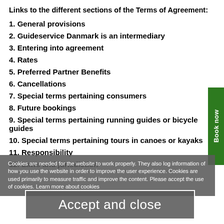Links to the different sections of the Terms of Agreement:
1. General provisions
2. Guideservice Danmark is an intermediary
3. Entering into agreement
4. Rates
5. Preferred Partner Benefits
6. Cancellations
7. Special terms pertaining consumers
8. Future bookings
9. Special terms pertaining running guides or bicycle guides
10. Special terms pertaining tours in canoes or kayaks
11. Responsibility
12. Laws and jurisdiction
Cookies are needed for the website to work properly. They also log information of how you use the website in order to improve the user experience. Cookies are used primarily to measure traffic and improve the content. Please accept the use of cookies. Learn more about cookies
Accept and close